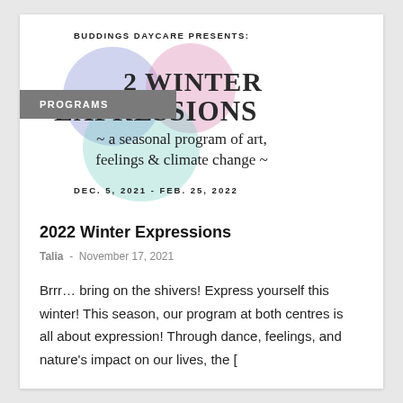[Figure (illustration): Promotional poster for 2022 Winter Expressions program by Buddings Daycare. Features overlapping colorful blobs (blue, pink, teal) with text: BUDDINGS DAYCARE PRESENTS:, 2022 WINTER EXPRESSIONS, ~ a seasonal program of art, feelings & climate change ~, DEC. 5, 2021 - FEB. 25, 2022]
PROGRAMS
2022 Winter Expressions
Talia  -  November 17, 2021
Brrr… bring on the shivers! Express yourself this winter! This season, our program at both centres is all about expression! Through dance, feelings, and nature’s impact on our lives, the [